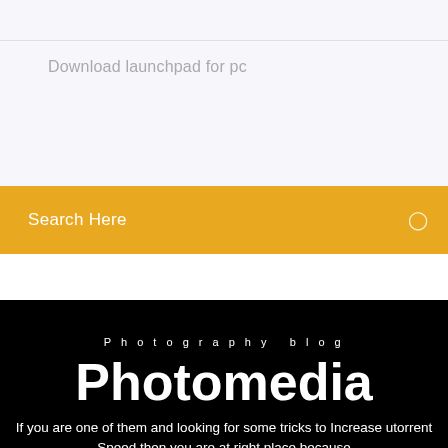Download launchpad for pc
Search Here
Photography blog
Photomedia
If you are one of them and looking for some tricks to Increase utorrent Speed then you are at right place because